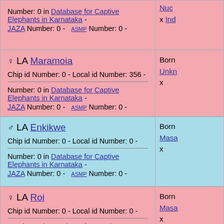| Elephant Info | Origin Info |
| --- | --- |
| Number: 0 in Database for Captive Elephants in Karnataka - JAZA Number: 0 - ASMP Number: 0 - | Nuc... x Ind... |
| ♀ LA Maramoia
Chip id Number: 0 - Local id Number: 356 -
Number: 0 in Database for Captive Elephants in Karnataka - JAZA Number: 0 - ASMP Number: 0 - | Born Unkn... x |
| ♂ LA Enkikwe
Chip id Number: 0 - Local id Number: 0 -
Number: 0 in Database for Captive Elephants in Karnataka - JAZA Number: 0 - ASMP Number: 0 - | Born Masa... x |
| ♀ LA Roi
Chip id Number: 0 - Local id Number: 0 -
Number: 0 in Database for Captive Elephants in Karnataka - JAZA Number: 0 - ASMP Number: 0 - | Born Masa... x |